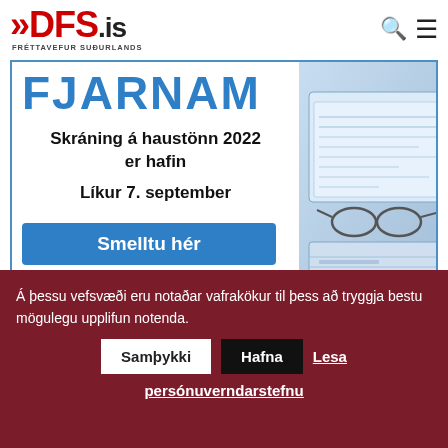DFS.is — FRÉTTAVEFUR SUÐURLANDS
[Figure (screenshot): Advertisement banner for FJARNAM distance learning. Text: FJARNAM, Skráning á haustönn 2022 er hafin, Líkur 7. september, Smelltu hér. Right side shows photo of books, glasses, and blueprints on a desk.]
Á þessu vefsvæði eru notaðar vafrakökur til þess að tryggja bestu mögulegu upplifun notenda.
Samþykki   Hafna   Lesa persónuverndarstefnu